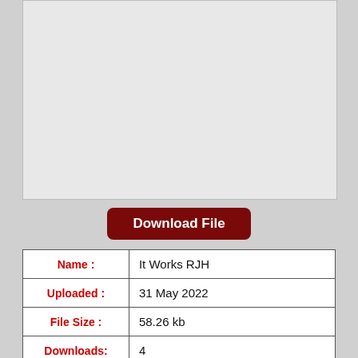[Figure (other): Gray preview area placeholder box]
Download File
| Name : | It Works RJH |
| Uploaded : | 31 May 2022 |
| File Size : | 58.26 kb |
| Downloads: | 4 |